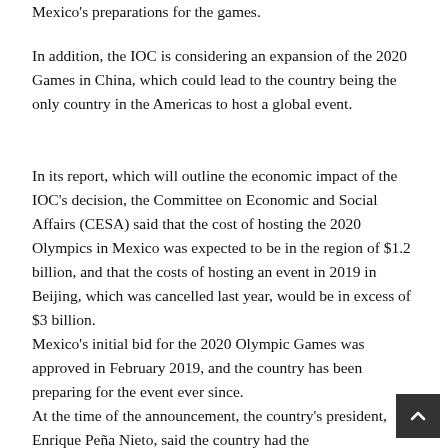Mexico's preparations for the games.
In addition, the IOC is considering an expansion of the 2020 Games in China, which could lead to the country being the only country in the Americas to host a global event.
In its report, which will outline the economic impact of the IOC's decision, the Committee on Economic and Social Affairs (CESA) said that the cost of hosting the 2020 Olympics in Mexico was expected to be in the region of $1.2 billion, and that the costs of hosting an event in 2019 in Beijing, which was cancelled last year, would be in excess of $3 billion.
Mexico's initial bid for the 2020 Olympic Games was approved in February 2019, and the country has been preparing for the event ever since.
At the time of the announcement, the country's president, Enrique Peña Nieto, said the country had the